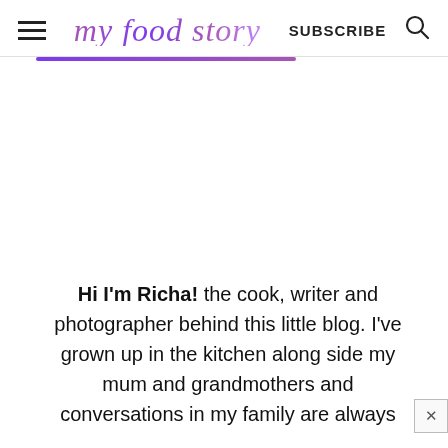my food story | SUBSCRIBE
[Figure (other): Purple underline decorative bar beneath the header navigation]
[Figure (other): Large empty white space area, likely an image or advertisement placeholder]
Hi I'm Richa! the cook, writer and photographer behind this little blog. I've grown up in the kitchen along side my mum and grandmothers and conversations in my family are always